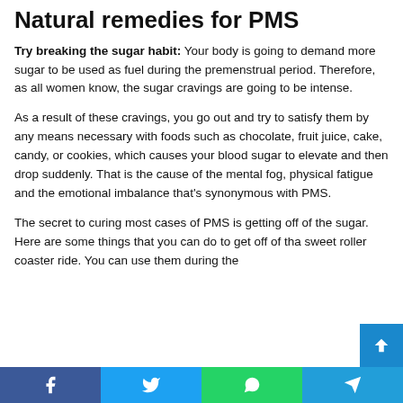Natural remedies for PMS
Try breaking the sugar habit: Your body is going to demand more sugar to be used as fuel during the premenstrual period. Therefore, as all women know, the sugar cravings are going to be intense.
As a result of these cravings, you go out and try to satisfy them by any means necessary with foods such as chocolate, fruit juice, cake, candy, or cookies, which causes your blood sugar to elevate and then drop suddenly. That is the cause of the mental fog, physical fatigue and the emotional imbalance that's synonymous with PMS.
The secret to curing most cases of PMS is getting off of the sugar. Here are some things that you can do to get off of that sweet roller coaster ride. You can use them during the